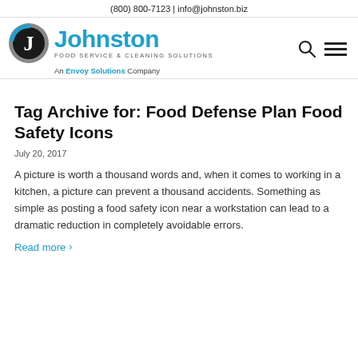(800) 800-7123 | info@johnston.biz
[Figure (logo): Johnston Food Service & Cleaning Solutions logo with circular J icon and blue text. An Envoy Solutions Company.]
Tag Archive for: Food Defense Plan Food Safety Icons
July 20, 2017
A picture is worth a thousand words and, when it comes to working in a kitchen, a picture can prevent a thousand accidents. Something as simple as posting a food safety icon near a workstation can lead to a dramatic reduction in completely avoidable errors.
Read more >